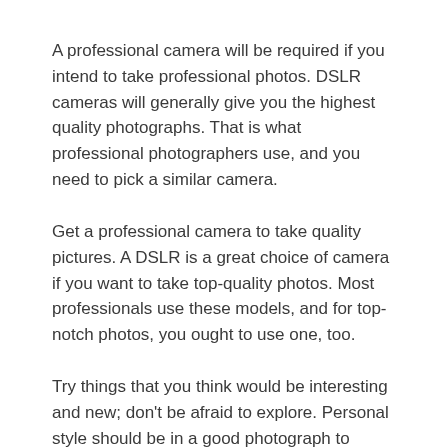A professional camera will be required if you intend to take professional photos. DSLR cameras will generally give you the highest quality photographs. That is what professional photographers use, and you need to pick a similar camera.
Get a professional camera to take quality pictures. A DSLR is a great choice of camera if you want to take top-quality photos. Most professionals use these models, and for top-notch photos, you ought to use one, too.
Try things that you think would be interesting and new; don't be afraid to explore. Personal style should be in a good photograph to express your point of view. Create unique photos that people have not seen many times before. You can create great photos by using different angles and adding your creative touch.